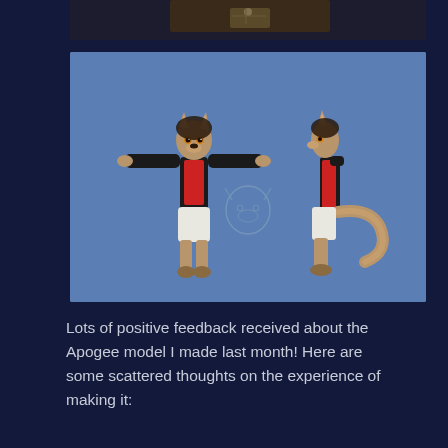[Figure (illustration): Partial view of a dark-themed 3D model viewport at the top of the page, cut off.]
[Figure (illustration): Reference sheet illustration of a anthropomorphic canine (dog/wolf) character named Apogee on a blue background. Front view shows the character in T-pose wearing a black jacket, red shirt, and white shorts. A head sketch is shown in the center. Side view on the right shows the character's profile with a tail visible.]
Lots of positive feedback received about the Apogee model I made last month! Here are some scattered thoughts on the experience of making it: